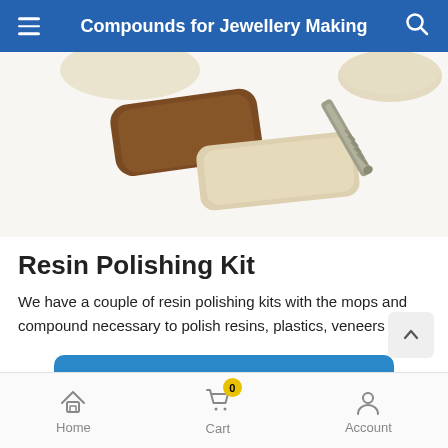Compounds for Jewellery Making
[Figure (photo): Close-up photo of polishing compound bars (brown and cream/beige coloured blocks) and a metal screw/mandrel tool on a white background]
Resin Polishing Kit
We have a couple of resin polishing kits with the mops and compound necessary to polish resins, plastics, veneers etc.
View Resin Polishing Kit
Home   Cart   Account